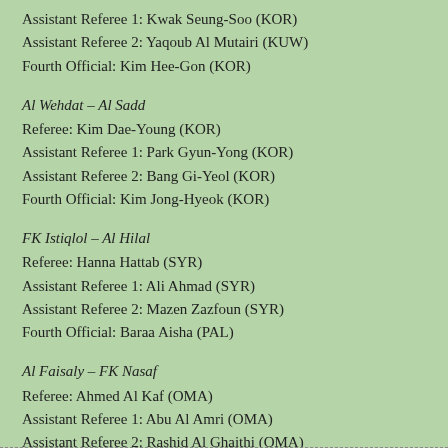Assistant Referee 1: Kwak Seung-Soo (KOR)
Assistant Referee 2: Yaqoub Al Mutairi (KUW)
Fourth Official: Kim Hee-Gon (KOR)
Al Wehdat – Al Sadd
Referee: Kim Dae-Young (KOR)
Assistant Referee 1: Park Gyun-Yong (KOR)
Assistant Referee 2: Bang Gi-Yeol (KOR)
Fourth Official: Kim Jong-Hyeok (KOR)
FK Istiqlol – Al Hilal
Referee: Hanna Hattab (SYR)
Assistant Referee 1: Ali Ahmad (SYR)
Assistant Referee 2: Mazen Zazfoun (SYR)
Fourth Official: Baraa Aisha (PAL)
Al Faisaly – FK Nasaf
Referee: Ahmed Al Kaf (OMA)
Assistant Referee 1: Abu Al Amri (OMA)
Assistant Referee 2: Rashid Al Ghaithi (OMA)
Fourth Official: Mahmood Al Majarafi (OMA)